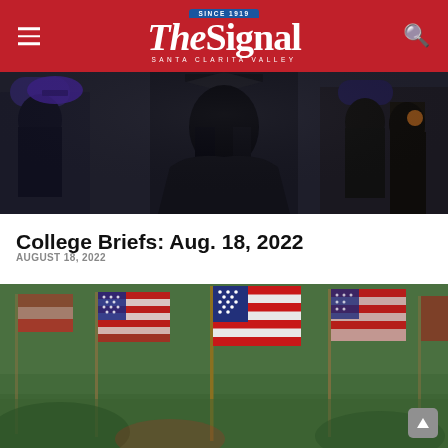The Signal — Santa Clarita Valley
[Figure (photo): Graduation photo showing students from behind in black gowns and caps with purple accents]
College Briefs: Aug. 18, 2022
AUGUST 18, 2022
[Figure (photo): Row of small American flags planted in green grass, slightly blurred in the foreground and background]